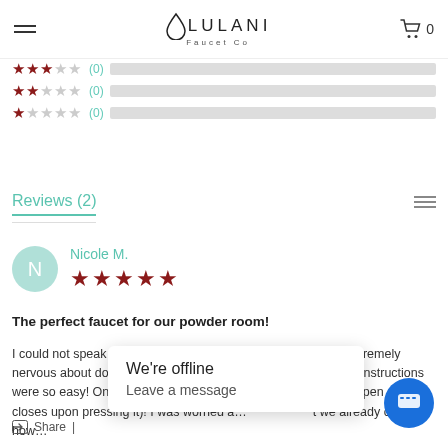Lulani Faucet Co
[Figure (other): Star rating bars showing 3-star, 2-star, and 1-star ratings, each with (0) count and a grey progress bar]
Reviews (2)
Nicole M.
The perfect faucet for our powder room!
I could not speak more highly about this Lulani faucet! I was extremely nervous about doing a vessel faucet for the first time, and their instructions were so easy! One of my favorite features is the drain (it pops open and closes upon pressing it)! I was worried a... t we already chose, how... or
Share |
We're offline
Leave a message